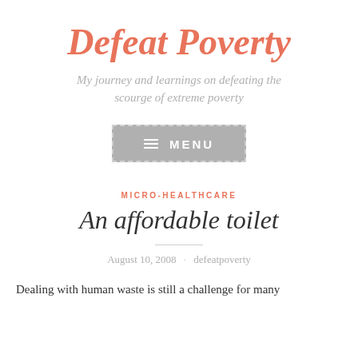Defeat Poverty
My journey and learnings on defeating the scourge of extreme poverty
[Figure (other): Menu button with hamburger icon and text MENU on grey background with dashed border]
MICRO-HEALTHCARE
An affordable toilet
August 10, 2008 · defeatpoverty
Dealing with human waste is still a challenge for many